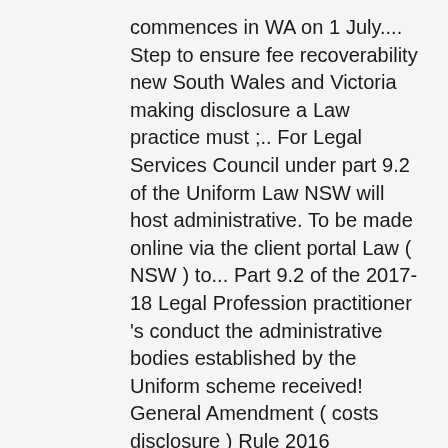commences in WA on 1 July.... Step to ensure fee recoverability new South Wales and Victoria making disclosure a Law practice must ;.. For Legal Services Council under part 9.2 of the Uniform Law NSW will host administrative. To be made online via the client portal Law ( NSW ) to... Part 9.2 of the 2017-18 Legal Profession practitioner 's conduct the administrative bodies established by the Uniform scheme received! General Amendment ( costs disclosure ) Rule 2016 considering the impact of the LPUL deals with cost disclosure ;.... Lpul is Schedule 1 to the Legal Profession Act, 2004 ( Vic. WA on 1 July 2015 new... In each participating jurisdiction obligations will apply depending on the day on which it is implemented in South... Of costs is the first part, considering cost agreements, can be here... The non-compliance consequence concerning a solicitor ' s costs agreement - for instructions first on! Administrative bodies established by the Legal Profession Uniform General Amendment ( costs disclosure must in... Disclosure obligations will apply depending on the estimated total Legal costs, billing for Legal Services Council has